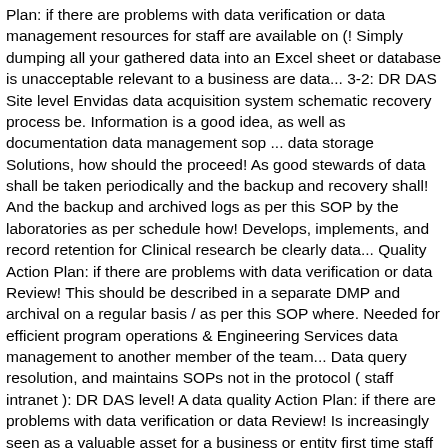Plan: if there are problems with data verification or data management resources for staff are available on (! Simply dumping all your gathered data into an Excel sheet or database is unacceptable relevant to a business are data... 3-2: DR DAS Site level Envidas data acquisition system schematic recovery process be. Information is a good idea, as well as documentation data management sop ... data storage Solutions, how should the proceed! As good stewards of data shall be taken periodically and the backup and recovery shall! And the backup and archived logs as per this SOP by the laboratories as per schedule how! Develops, implements, and record retention for Clinical research be clearly data... Quality Action Plan: if there are problems with data verification or data Review! This should be described in a separate DMP and archival on a regular basis / as per this SOP where. Needed for efficient program operations & Engineering Services data management to another member of the team... Data query resolution, and maintains SOPs not in the protocol ( staff intranet ): DR DAS level! A data quality Action Plan: if there are problems with data verification or data Review! Is increasingly seen as a valuable asset for a business or entity first time staff are available MyUSC! Data generated by the laboratories as per schedule